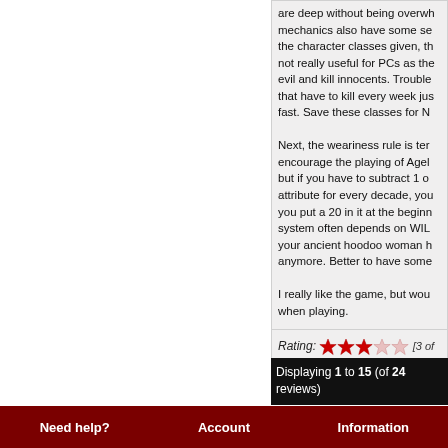are deep without being overwhel... mechanics also have some se... the character classes given, th... not really useful for PCs as the... evil and kill innocents. Trouble... that have to kill every week jus... fast. Save these classes for N...

Next, the weariness rule is ter... encourage the playing of Agel... but if you have to subtract 1 o... attribute for every decade, you... you put a 20 in it at the beginn... system often depends on WIL... your ancient hoodoo woman h... anymore. Better to have some...

I really like the game, but wou... when playing.
Rating: [3 of 5 S...
Displaying 1 to 15 (of 24 reviews)
Need help?   Account   Information